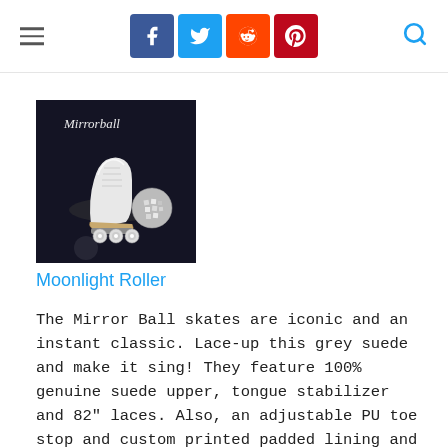Social share buttons and navigation header
[Figure (photo): Mirrorball roller skate product photo — white high-top suede skate with clear wheels and a disco mirror ball, dark background, 'Mirrorball' script logo visible]
Moonlight Roller
The Mirror Ball skates are iconic and an instant classic. Lace-up this grey suede and make it sing! They feature 100% genuine suede upper, tongue stabilizer and 82" laces. Also, an adjustable PU toe stop and custom printed padded lining and cushioned insole.